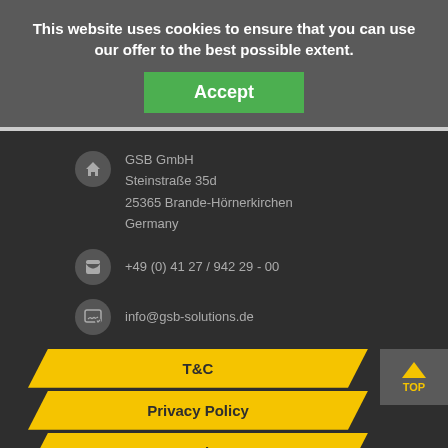This website uses cookies to ensure that you can use our offer to the best possible extent.
Accept
GSB GmbH
Steinstraße 35d
25365 Brande-Hörnerkirchen
Germany
+49 (0) 41 27 / 942 29 - 00
info@gsb-solutions.de
T&C
Privacy Policy
Imprint
Contact
© 2022 GSB GmbH